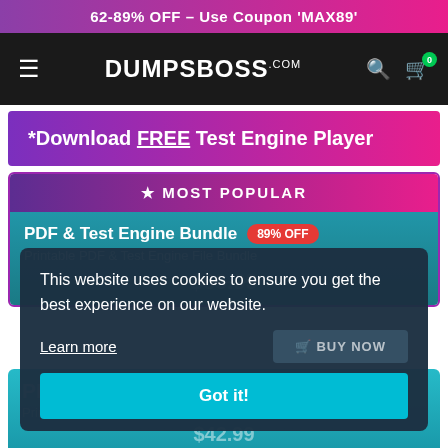62-89% OFF – Use Coupon 'MAX89'
[Figure (logo): DumpsBoss.com navigation bar with hamburger menu, logo, search and cart icons]
*Download FREE Test Engine Player
★ MOST POPULAR
PDF & Test Engine Bundle 89% OFF
Printable PDF & Test Engine File Bundle
$66.99
This website uses cookies to ensure you get the best experience on our website.
Learn more
BUY NOW
Got it!
PDF Only 62% OFF
Printable Premium PDF
$42.99